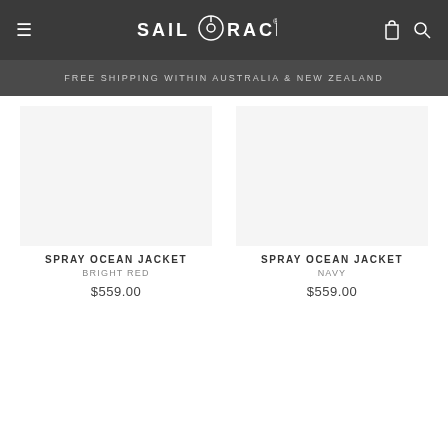SAIL RACING
FREE SHIPPING WITHIN AUSTRALIA & NEW ZEALAND
SPRAY OCEAN JACKET BRIGHT RED $559.00
SPRAY OCEAN JACKET NAVY $559.00